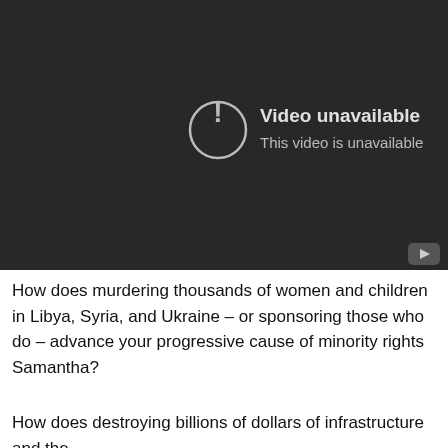[Figure (screenshot): YouTube video player showing 'Video unavailable' error message with exclamation mark icon in a circle on a dark background. Text reads: 'Video unavailable' and 'This video is unavailable'. YouTube logo icon visible in bottom right corner.]
How does murdering thousands of women and children in Libya, Syria, and Ukraine – or sponsoring those who do – advance your progressive cause of minority rights Samantha?
How does destroying billions of dollars of infrastructure and the